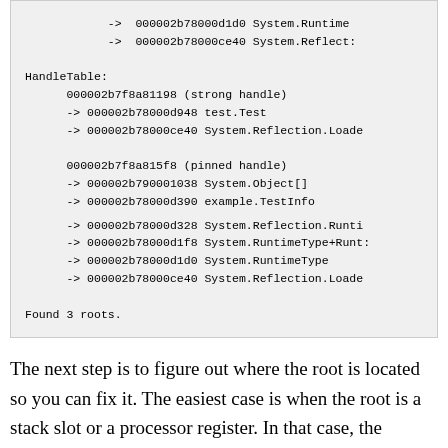-> 000002b78000d1d0 System.Runtime
            -> 000002b78000ce40 System.Reflect:
HandleTable:
    000002b7f8a81198 (strong handle)
    -> 000002b78000d948 test.Test
    -> 000002b78000ce40 System.Reflection.Loade

    000002b7f8a815f8 (pinned handle)
    -> 000002b790001038 System.Object[]
    -> 000002b78000d390 example.TestInfo
    -> 000002b78000d328 System.Reflection.Runti
    -> 000002b78000d1f8 System.RuntimeType+Runt:
    -> 000002b78000d1d0 System.RuntimeType
    -> 000002b78000ce40 System.Reflection.Loade

Found 3 roots.
The next step is to figure out where the root is located so you can fix it. The easiest case is when the root is a stack slot or a processor register. In that case, the gcroot shows the name of the function where a parameter or the root was found.